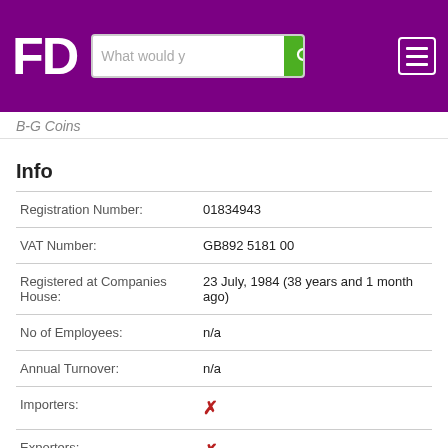[Figure (screenshot): Purple header bar with FD logo, search bar with 'What would y' placeholder text and green search button, and hamburger menu button on right]
B-G Coins
Info
| Field | Value |
| --- | --- |
| Registration Number: | 01834943 |
| VAT Number: | GB892 5181 00 |
| Registered at Companies House: | 23 July, 1984 (38 years and 1 month ago) |
| No of Employees: | n/a |
| Annual Turnover: | n/a |
| Importers: | ✗ |
| Exporters: | ✗ |